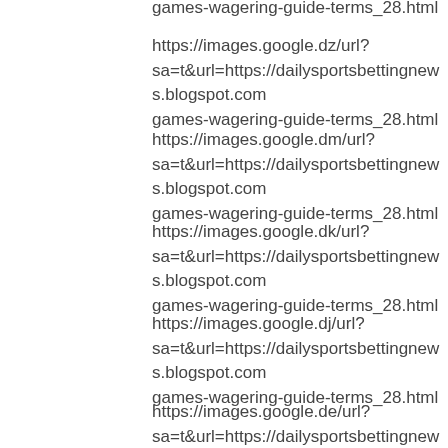games-wagering-guide-terms_28.html
https://images.google.dz/url?sa=t&url=https://dailysportsbettingnews.blogspot.comgames-wagering-guide-terms_28.html
https://images.google.dm/url?sa=t&url=https://dailysportsbettingnews.blogspot.comgames-wagering-guide-terms_28.html
https://images.google.dk/url?sa=t&url=https://dailysportsbettingnews.blogspot.comgames-wagering-guide-terms_28.html
https://images.google.dj/url?sa=t&url=https://dailysportsbettingnews.blogspot.comgames-wagering-guide-terms_28.html
https://images.google.de/url?sa=t&url=https://dailysportsbettingnews.blogspot.comgames-wagering-guide-terms_28.html